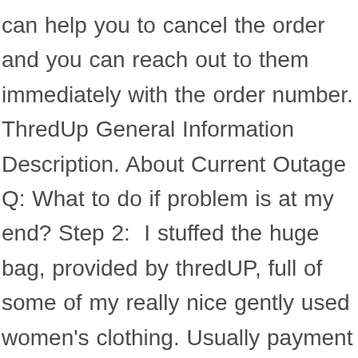can help you to cancel the order and you can reach out to them immediately with the order number. ThredUp General Information Description. About Current Outage Q: What to do if problem is at my end? Step 2:  I stuffed the huge bag, provided by thredUP, full of some of my really nice gently used women's clothing. Usually payment methods for online shopping are done at the time of check out and the order gets placed. I feel your pain on this. I really don't want to order anything from them but if I want my money I need to use the $47.plus UNBELIEVABLE. Thanks so much for reading my blog and for leaving a comment. thredUP processes orders … If Poshmark and Thredup don't feel like good fits for you, here are four more ways to sell your clothes for cash. ELEVEN accounts! For the latest thredup coupon codes bookmark this page, Women